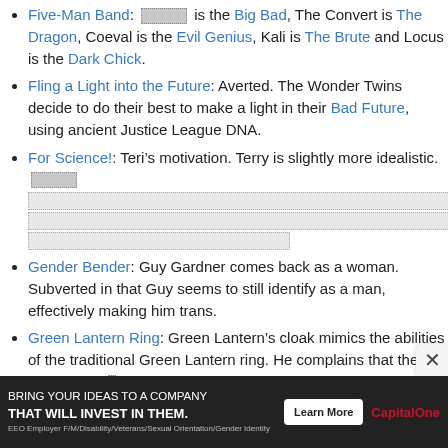Five-Man Band: [redacted] is the Big Bad, The Convert is The Dragon, Coeval is the Evil Genius, Kali is The Brute and Locus is the Dark Chick.
Fling a Light into the Future: Averted. The Wonder Twins decide to do their best to make a light in their Bad Future, using ancient Justice League DNA.
For Science!: Teri’s motivation. Terry is slightly more idealistic. [redacted blocks]
Gender Bender: Guy Gardner comes back as a woman. Subverted in that Guy seems to still identify as a man, effectively making him trans.
Green Lantern Ring: Green Lantern’s cloak mimics the abilities of the traditional Green Lantern ring. He complains that the ring was better.
[Figure (other): Advertisement banner: BRING YOUR IDEAS TO A COMPANY THAT WILL INVEST IN THEM. Learn More. Capital One. EEO Employer F/M/Disability/Veterans/Sexual Orientation/Gender Identity]